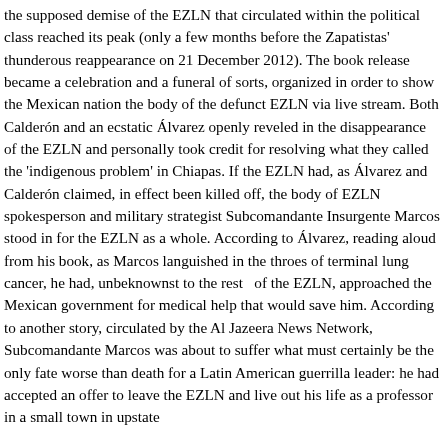the supposed demise of the EZLN that circulated within the political class reached its peak (only a few months before the Zapatistas' thunderous reappearance on 21 December 2012). The book release became a celebration and a funeral of sorts, organized in order to show the Mexican nation the body of the defunct EZLN via live stream. Both Calderón and an ecstatic Álvarez openly reveled in the disappearance of the EZLN and personally took credit for resolving what they called the 'indigenous problem' in Chiapas. If the EZLN had, as Álvarez and Calderón claimed, in effect been killed off, the body of EZLN spokesperson and military strategist Subcomandante Insurgente Marcos stood in for the EZLN as a whole. According to Álvarez, reading aloud from his book, as Marcos languished in the throes of terminal lung cancer, he had, unbeknownst to the rest   of the EZLN, approached the Mexican government for medical help that would save him. According to another story, circulated by the Al Jazeera News Network, Subcomandante Marcos was about to suffer what must certainly be the only fate worse than death for a Latin American guerrilla leader: he had accepted an offer to leave the EZLN and live out his life as a professor in a small town in upstate